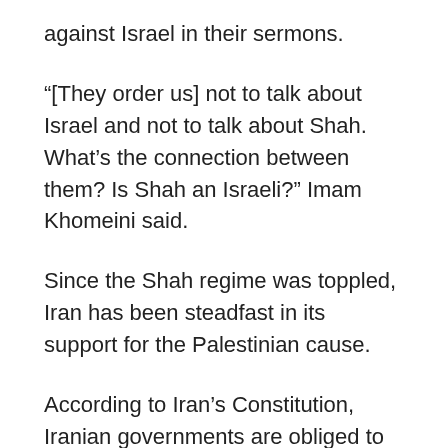against Israel in their sermons.
“[They order us] not to talk about Israel and not to talk about Shah. What’s the connection between them? Is Shah an Israeli?” Imam Khomeini said.
Since the Shah regime was toppled, Iran has been steadfast in its support for the Palestinian cause.
According to Iran’s Constitution, Iranian governments are obliged to support the oppressed across the globe.